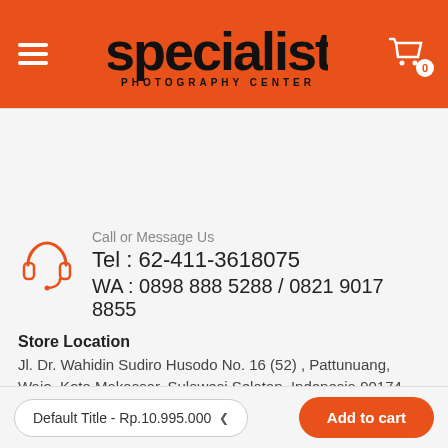[Figure (logo): Specialist Photography Center logo with hamburger menu and cart icon on orange background header]
Call or Message Us
Tel : 62-411-3618075
WA : 0898 888 5288 / 0821 9017 8855
Store Location
Jl. Dr. Wahidin Sudiro Husodo No. 16 (52) , Pattunuang, Wajo, Kota Makassar, Sulawesi Selatan, Indonesia 90174
Default Title - Rp.10.995.000
Add to cart